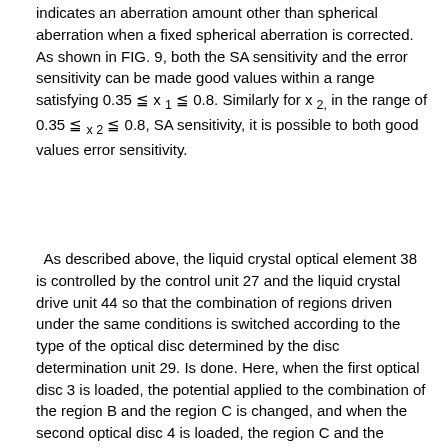indicates an aberration amount other than spherical aberration when a fixed spherical aberration is corrected. As shown in FIG. 9, both the SA sensitivity and the error sensitivity can be made good values within a range satisfying 0.35 ≦ x 1 ≦ 0.8. Similarly for x 2, in the range of 0.35 ≦ x 2 ≦ 0.8, SA sensitivity, it is possible to both good values error sensitivity.
As described above, the liquid crystal optical element 38 is controlled by the control unit 27 and the liquid crystal drive unit 44 so that the combination of regions driven under the same conditions is switched according to the type of the optical disc determined by the disc determination unit 29. Is done. Here, when the first optical disc 3 is loaded, the potential applied to the combination of the region B and the region C is changed, and when the second optical disc 4 is loaded, the region C and the region D are changed. The potential applied to the combination is changed. By controlling the voltage applied to the first and second electrode patterns, the liquid crystal optical element 38 can optimally adjust the spherical aberration with simple control according to the type of the optical disc.